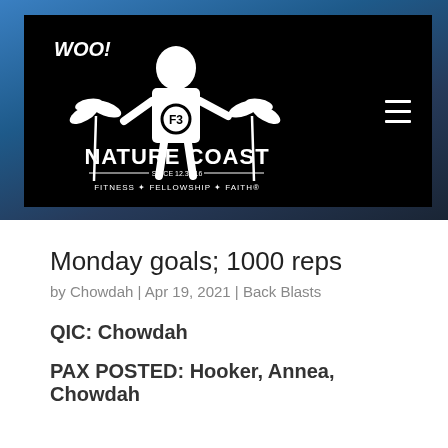[Figure (logo): F3 Nature Coast logo on black background with white text reading 'WOO! NATURE COAST SINCE 12.31.16 FITNESS + FELLOWSHIP + FAITH' and a graphic of a person with palm trees, plus hamburger menu icon]
Monday goals; 1000 reps
by Chowdah | Apr 19, 2021 | Back Blasts
QIC: Chowdah
PAX POSTED: Hooker, Annea, Chowdah